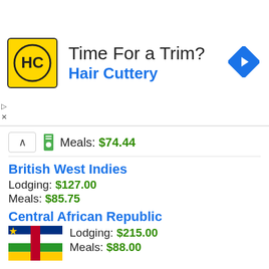[Figure (advertisement): Hair Cuttery ad banner with logo (HC on yellow background), text 'Time For a Trim?' and 'Hair Cuttery', and a blue diamond navigation arrow icon]
Meals: $74.44
British West Indies
Lodging: $127.00
Meals: $85.75
Central African Republic
Lodging: $215.00
Meals: $88.00
Canada
Lodging: $199.82
Meals: $121.40
Chagos Archipelago
Lodging: $111.00
Meals: $70.50
Republic Of The Congo